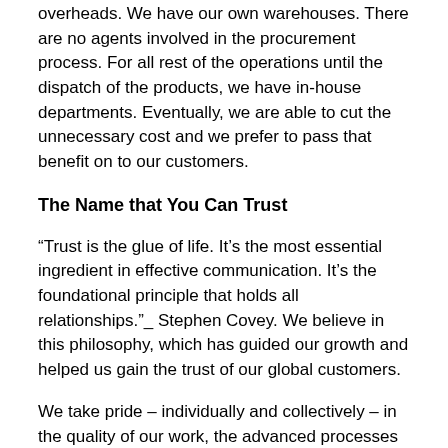overheads. We have our own warehouses. There are no agents involved in the procurement process. For all rest of the operations until the dispatch of the products, we have in-house departments. Eventually, we are able to cut the unnecessary cost and we prefer to pass that benefit on to our customers.
The Name that You Can Trust
“Trust is the glue of life. It’s the most essential ingredient in effective communication. It’s the foundational principle that holds all relationships.”_ Stephen Covey. We believe in this philosophy, which has guided our growth and helped us gain the trust of our global customers.
We take pride – individually and collectively – in the quality of our work, the advanced processes we use, the products and services we provide, and in the recognized and validated the efficacy of our continuous improvement program. We take pride in meeting selected customer needs ahead of our competition. We take pride in achieving and sustaining levels of financial returns as a measure, beyond the numbers, of the value our customers agree we create.